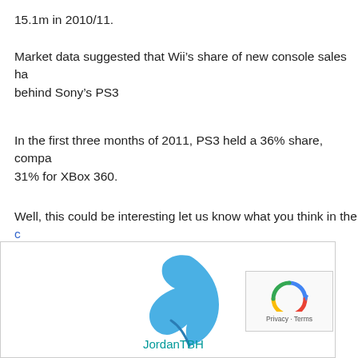15.1m in 2010/11.
Market data suggested that Wii's share of new console sales ha... behind Sony's PS3
In the first three months of 2011, PS3 held a 36% share, compa... 31% for XBox 360.
Well, this could be interesting let us know what you think in the c...
[Figure (logo): Drupal leaf logo in blue, with JordanTBH text below in teal]